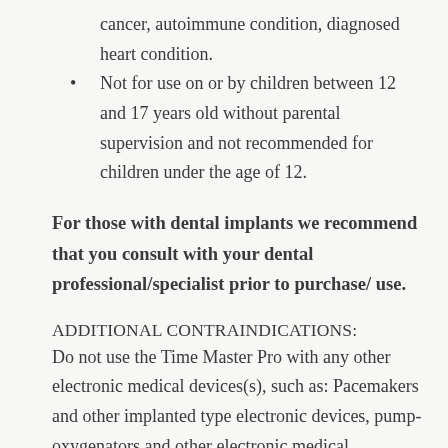cancer, autoimmune condition, diagnosed heart condition.
Not for use on or by children between 12 and 17 years old without parental supervision and not recommended for children under the age of 12.
For those with dental implants we recommend that you consult with your dental professional/specialist prior to purchase/ use.
ADDITIONAL CONTRAINDICATIONS:
Do not use the Time Master Pro with any other electronic medical devices(s), such as: Pacemakers and other implanted type electronic devices, pump-oxygenators and other electronic medical equipment